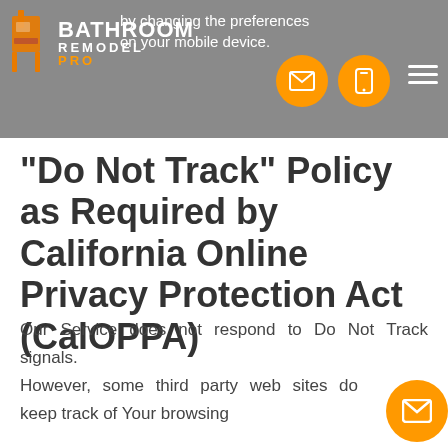BATHROOM REMODEL PRO — by changing the preferences on your mobile device.
"Do Not Track" Policy as Required by California Online Privacy Protection Act (CalOPPA)
Our Service does not respond to Do Not Track signals.
However, some third party web sites do keep track of Your browsing